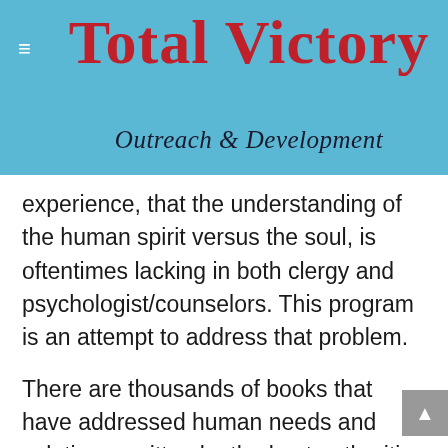Total Victory
Outreach & Development
experience, that the understanding of the human spirit versus the soul, is oftentimes lacking in both clergy and psychologist/counselors. This program is an attempt to address that problem.
There are thousands of books that have addressed human needs and solutions, written by the best authorities on the subjects discussed. Much wisdom and insight can be gleaned from them and used profitably by those in need of the information contained therein. However, when it comes to the invisible world of the spirit, the cacophony of opinions vary